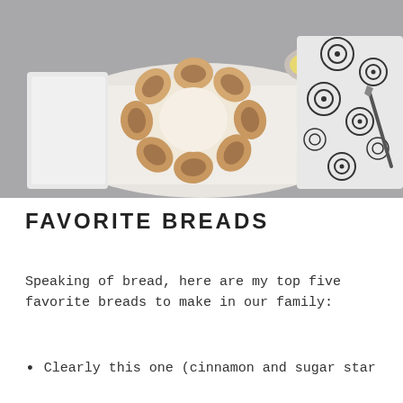[Figure (photo): A cinnamon and sugar star bread on a white parchment-lined baking sheet, with a small glass bowl of yellow dipping sauce and a black and white patterned cloth napkin in the background.]
FAVORITE BREADS
Speaking of bread, here are my top five favorite breads to make in our family:
Clearly this one (cinnamon and sugar star